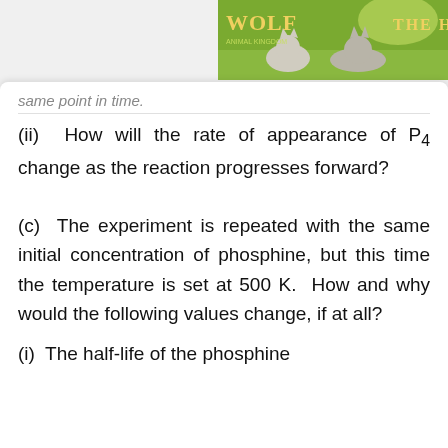[Figure (photo): Wolf-themed banner image with wolves and golden text reading 'WOLF' and 'THE H' on a green outdoor background]
same point in unc.
(ii) How will the rate of appearance of P4 change as the reaction progresses forward?
(c) The experiment is repeated with the same initial concentration of phosphine, but this time the temperature is set at 500 K. How and why would the following values change, if at all?
(i) The half-life of the phosphine